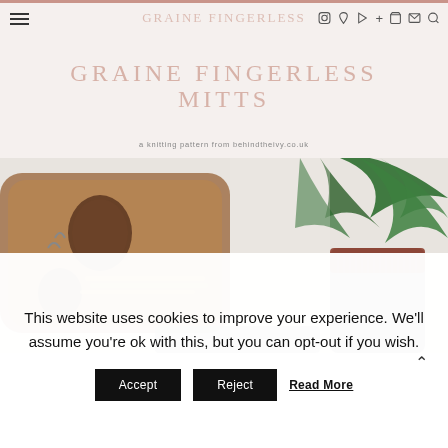GRAINE FINGERLESS MITTS — a knitting pattern from behindtheivy.co.uk
GRAINE FINGERLESS MITTS
a knitting pattern from behindtheivy.co.uk
[Figure (photo): Flat lay photo showing knitted grey fingerless mitts with terracotta/rust coloured cuff border, alongside a wooden tray with pine cones, stitch markers, and bamboo knitting needles, and a green palm plant in the background on a white surface.]
This website uses cookies to improve your experience. We'll assume you're ok with this, but you can opt-out if you wish.
Accept   Reject   Read More